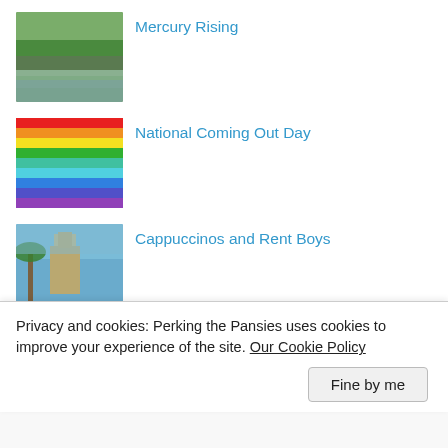[Figure (photo): Photo of a river or park scene with trees and water]
Mercury Rising
[Figure (illustration): Rainbow pride flag with horizontal stripes: red, orange, yellow, green, teal, light blue, blue, violet, purple]
National Coming Out Day
[Figure (photo): Photo of a church or cathedral with a palm tree and blue sky]
Cappuccinos and Rent Boys
[Figure (photo): Partially visible photo, appears to show figures in red and white]
Pith, Path and Poof
Privacy and cookies: Perking the Pansies uses cookies to improve your experience of the site. Our Cookie Policy
Fine by me